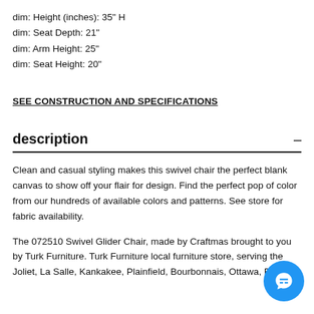dim: Height (inches): 35" H
dim: Seat Depth: 21"
dim: Arm Height: 25"
dim: Seat Height: 20"
SEE CONSTRUCTION AND SPECIFICATIONS
description
Clean and casual styling makes this swivel chair the perfect blank canvas to show off your flair for design. Find the perfect pop of color from our hundreds of available colors and patterns. See store for fabric availability.
The 072510 Swivel Glider Chair, made by Craftmas brought to you by Turk Furniture. Turk Furniture local furniture store, serving the Joliet, La Salle, Kankakee, Plainfield, Bourbonnais, Ottawa, Bradley,